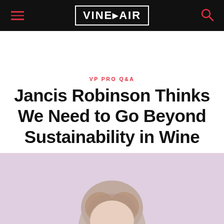VINEPAIR
VP PRO Q&A
Jancis Robinson Thinks We Need to Go Beyond Sustainability in Wine
[Figure (photo): Photo of Jancis Robinson against a pink/lavender background, cropped at the bottom of the page showing the top of her head and shoulders]